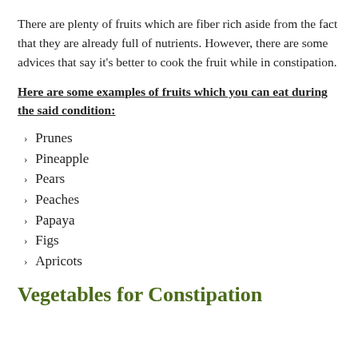There are plenty of fruits which are fiber rich aside from the fact that they are already full of nutrients. However, there are some advices that say it's better to cook the fruit while in constipation.
Here are some examples of fruits which you can eat during the said condition:
Prunes
Pineapple
Pears
Peaches
Papaya
Figs
Apricots
Vegetables for Constipation